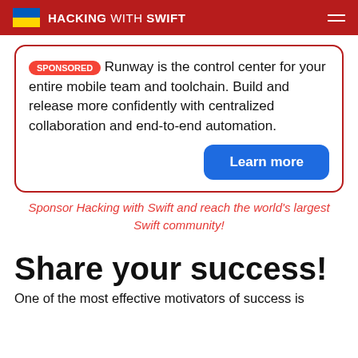HACKING WITH SWIFT
SPONSORED Runway is the control center for your entire mobile team and toolchain. Build and release more confidently with centralized collaboration and end-to-end automation. Learn more
Sponsor Hacking with Swift and reach the world's largest Swift community!
Share your success!
One of the most effective motivators of success is